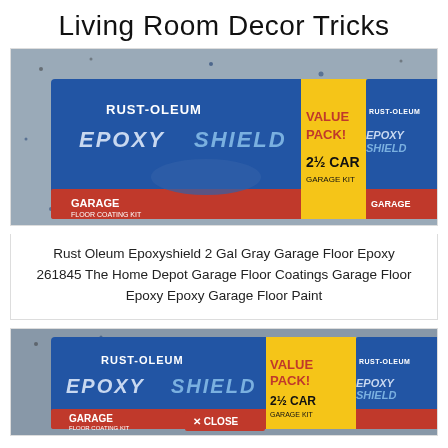Living Room Decor Tricks
[Figure (photo): Rust-Oleum EpoxyShield 2.5 Car Garage Floor Coating Kit product box, VALUE PACK, shown on a gray speckled surface]
Rust Oleum Epoxyshield 2 Gal Gray Garage Floor Epoxy 261845 The Home Depot Garage Floor Coatings Garage Floor Epoxy Epoxy Garage Floor Paint
[Figure (photo): Rust-Oleum EpoxyShield 2.5 Car Garage Floor Coating Kit product box, VALUE PACK, closeup with CLOSE button overlay]